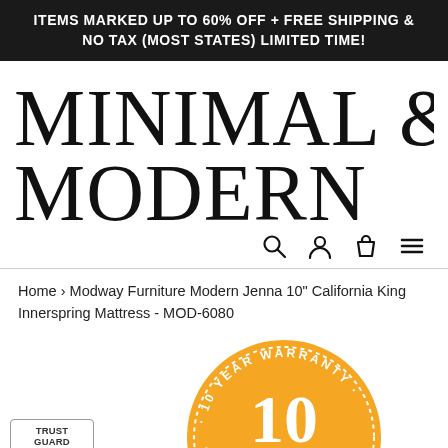ITEMS MARKED UP TO 60% OFF + FREE SHIPPING & NO TAX (MOST STATES) LIMITED TIME!
[Figure (logo): Minimal & Modern brand logo in large serif font]
[Figure (infographic): Navigation icons: search magnifying glass, user/account person, shopping bag/cart, hamburger menu]
Home › Modway Furniture Modern Jenna 10" California King Innerspring Mattress - MOD-6080
[Figure (illustration): 10 Year Warranty gold badge/seal with text '10 YEAR WARRANTY' arranged in a circle, large '10' and 'YEAR' in center]
[Figure (logo): Trust Guard Security Scanned badge with shield icon]